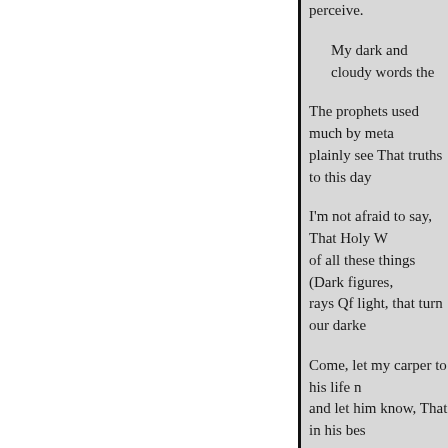perceive.
My dark and cloudy words the
The prophets used much by meta plainly see That truths to this day
I'm not afraid to say, That Holy W of all these things (Dark figures, rays Qf light, that turn our darke
Come, let my carper to his life n and let him know, That in his bes
May we but stand before imparti meaning in these lines Far better find, Informs the judgment, recti memory too it doth fill With wha
Sound words, I know, Tim And old wives' fables he is But yet grave Paul him no w The use of parables, in whic